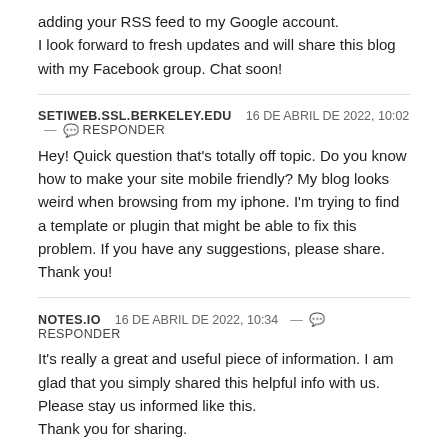adding your RSS feed to my Google account.
I look forward to fresh updates and will share this blog with my Facebook group. Chat soon!
SETIWEB.SSL.BERKELEY.EDU   16 DE ABRIL DE 2022, 10:02 — 💬 RESPONDER
Hey! Quick question that's totally off topic. Do you know how to make your site mobile friendly? My blog looks weird when browsing from my iphone. I'm trying to find a template or plugin that might be able to fix this problem. If you have any suggestions, please share. Thank you!
NOTES.IO   16 DE ABRIL DE 2022, 10:34 — 💬 RESPONDER
It's really a great and useful piece of information. I am glad that you simply shared this helpful info with us. Please stay us informed like this.
Thank you for sharing.